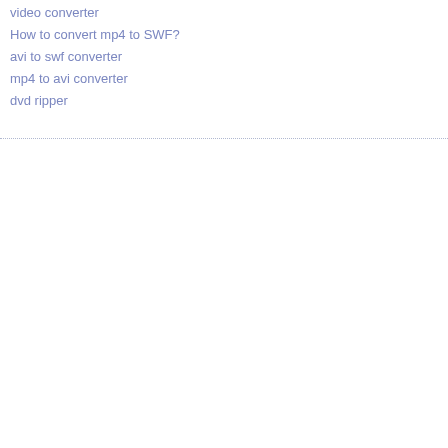video converter
How to convert mp4 to SWF?
avi to swf converter
mp4 to avi converter
dvd ripper